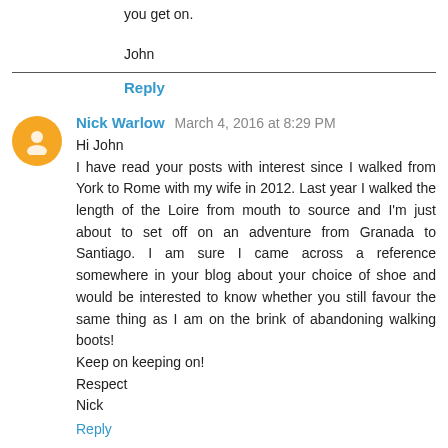you get on.
John
Reply
Nick Warlow  March 4, 2016 at 8:29 PM
Hi John
I have read your posts with interest since I walked from York to Rome with my wife in 2012. Last year I walked the length of the Loire from mouth to source and I'm just about to set off on an adventure from Granada to Santiago. I am sure I came across a reference somewhere in your blog about your choice of shoe and would be interested to know whether you still favour the same thing as I am on the brink of abandoning walking boots!
Keep on keeping on!
Respect
Nick
Reply